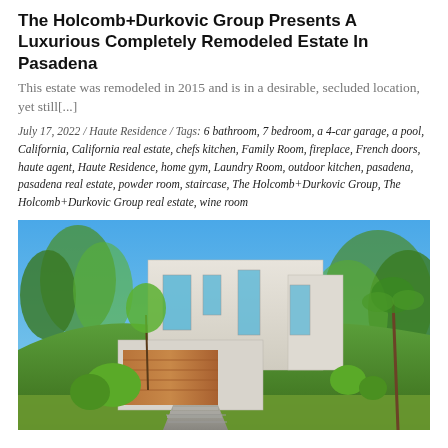The Holcomb+Durkovic Group Presents A Luxurious Completely Remodeled Estate In Pasadena
This estate was remodeled in 2015 and is in a desirable, secluded location, yet still[...]
July 17, 2022 / Haute Residence / Tags: 6 bathroom, 7 bedroom, a 4-car garage, a pool, California, California real estate, chefs kitchen, Family Room, fireplace, French doors, haute agent, Haute Residence, home gym, Laundry Room, outdoor kitchen, pasadena, pasadena real estate, powder room, staircase, The Holcomb+Durkovic Group, The Holcomb+Durkovic Group real estate, wine room
[Figure (photo): Exterior photo of a modern white multi-story estate with wood-paneled garage, large windows, set on a hillside with trees and blue sky background, a driveway with steps leading up to the house.]